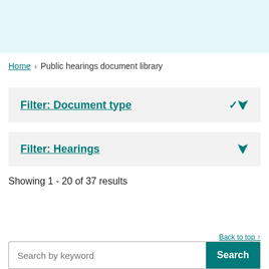Home > Public hearings document library
Filter: Document type
Filter: Hearings
Showing 1 - 20 of 37 results
Back to top ↑
Search by keyword